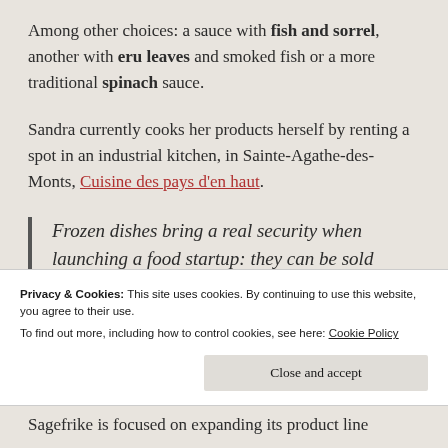Among other choices: a sauce with fish and sorrel, another with eru leaves and smoked fish or a more traditional spinach sauce.
Sandra currently cooks her products herself by renting a spot in an industrial kitchen, in Sainte-Agathe-des-Monts, Cuisine des pays d'en haut.
Frozen dishes bring a real security when launching a food startup: they can be sold within a year.
Privacy & Cookies: This site uses cookies. By continuing to use this website, you agree to their use.
To find out more, including how to control cookies, see here: Cookie Policy
Close and accept
Sagefrike is focused on expanding its product line